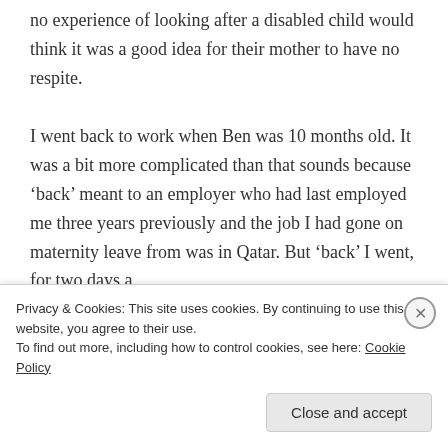no experience of looking after a disabled child would think it was a good idea for their mother to have no respite.
I went back to work when Ben was 10 months old. It was a bit more complicated than that sounds because ‘back’ meant to an employer who had last employed me three years previously and the job I had gone on maternity leave from was in Qatar. But ‘back’ I went, for two days a
Privacy & Cookies: This site uses cookies. By continuing to use this website, you agree to their use.
To find out more, including how to control cookies, see here: Cookie Policy
Close and accept